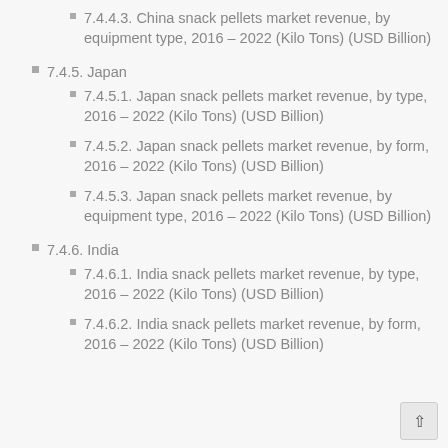7.4.4.3. China snack pellets market revenue, by equipment type, 2016 – 2022 (Kilo Tons) (USD Billion)
7.4.5. Japan
7.4.5.1. Japan snack pellets market revenue, by type, 2016 – 2022 (Kilo Tons) (USD Billion)
7.4.5.2. Japan snack pellets market revenue, by form, 2016 – 2022 (Kilo Tons) (USD Billion)
7.4.5.3. Japan snack pellets market revenue, by equipment type, 2016 – 2022 (Kilo Tons) (USD Billion)
7.4.6. India
7.4.6.1. India snack pellets market revenue, by type, 2016 – 2022 (Kilo Tons) (USD Billion)
7.4.6.2. India snack pellets market revenue, by form, 2016 – 2022 (Kilo Tons) (USD Billion)